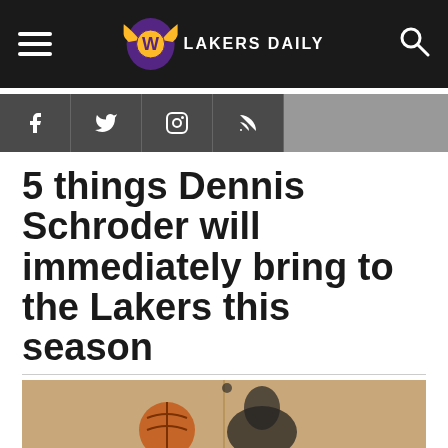Lakers Daily
[Figure (screenshot): Lakers Daily website header with hamburger menu, Lakers Daily logo, and search icon on dark background, followed by social media icon bar (Facebook, Twitter, Instagram, RSS) and article title: 5 things Dennis Schroder will immediately bring to the Lakers this season, with a cropped basketball photo at the bottom]
5 things Dennis Schroder will immediately bring to the Lakers this season